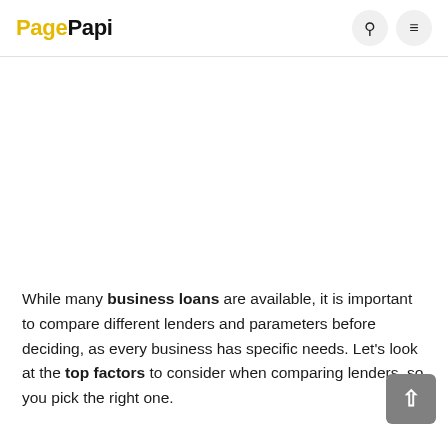PagePapi
While many business loans are available, it is important to compare different lenders and parameters before deciding, as every business has specific needs. Let's look at the top factors to consider when comparing lenders, so you pick the right one.